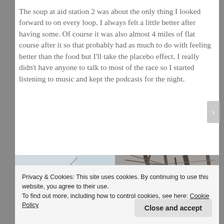The soup at aid station 2 was about the only thing I looked forward to on every loop. I always felt a little better after having some. Of course it was also almost 4 miles of flat course after it so that probably had as much to do with feeling better than the food but I'll take the placebo effect. I really didn't have anyone to talk to most of the race so I started listening to music and kept the podcasts for the night.
[Figure (photo): Partial photo of bare winter tree branches against a light sky, partially obscured by cookie consent banner]
Privacy & Cookies: This site uses cookies. By continuing to use this website, you agree to their use.
To find out more, including how to control cookies, see here: Cookie Policy
Close and accept